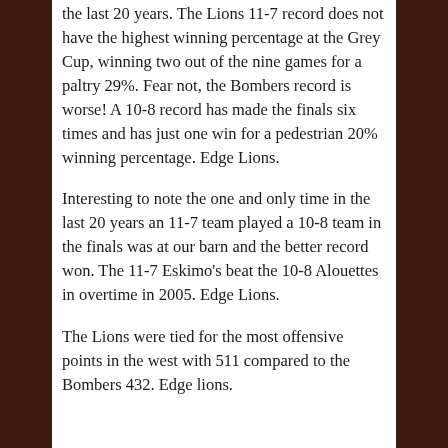the last 20 years. The Lions 11-7 record does not have the highest winning percentage at the Grey Cup, winning two out of the nine games for a paltry 29%. Fear not, the Bombers record is worse! A 10-8 record has made the finals six times and has just one win for a pedestrian 20% winning percentage. Edge Lions.
Interesting to note the one and only time in the last 20 years an 11-7 team played a 10-8 team in the finals was at our barn and the better record won. The 11-7 Eskimo's beat the 10-8 Alouettes in overtime in 2005. Edge Lions.
The Lions were tied for the most offensive points in the west with 511 compared to the Bombers 432. Edge lions.